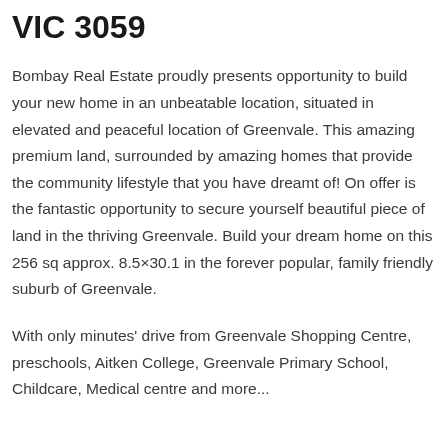VIC 3059
Bombay Real Estate proudly presents opportunity to build your new home in an unbeatable location, situated in elevated and peaceful location of Greenvale. This amazing premium land, surrounded by amazing homes that provide the community lifestyle that you have dreamt of! On offer is the fantastic opportunity to secure yourself beautiful piece of land in the thriving Greenvale. Build your dream home on this 256 sq approx. 8.5×30.1 in the forever popular, family friendly suburb of Greenvale.
With only minutes' drive from Greenvale Shopping Centre, preschools, Aitken College, Greenvale Primary School, Childcare, Medical centre and more...